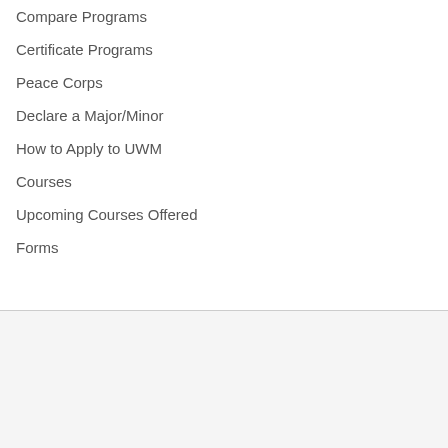Compare Programs
Certificate Programs
Peace Corps
Declare a Major/Minor
How to Apply to UWM
Courses
Upcoming Courses Offered
Forms
INTERESTED IN APPLYING?